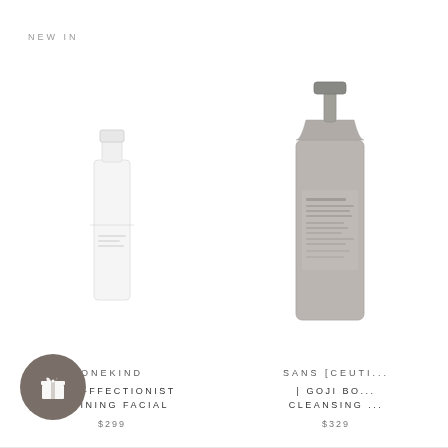NEW IN
[Figure (photo): Product image of Onekind Pore-ffectionist Refining Facial skincare product - a white/clear bottle with minimal design]
ONEKIND
PORE-FFECTIONIST REFINING FACIAL
$299
[Figure (photo): Product image of Sans [Ceuticals] Goji Body Cleansing gel in a grey/taupe bottle with pump dispenser]
SANS [CEUTI...
| GOJI BO... CLEANSING ...
$329
[Figure (illustration): Gift badge - dark grey circle with white gift box icon]